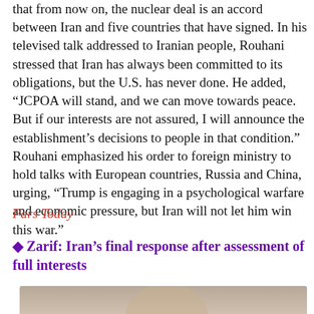that from now on, the nuclear deal is an accord between Iran and five countries that have signed. In his televised talk addressed to Iranian people, Rouhani stressed that Iran has always been committed to its obligations, but the U.S. has never done. He added, “JCPOA will stand, and we can move towards peace. But if our interests are not assured, I will announce the establishment’s decisions to people in that condition.”
Rouhani emphasized his order to foreign ministry to hold talks with European countries, Russia and China, urging, “Trump is engaging in a psychological warfare and economic pressure, but Iran will not let him win this war.”
Pars Today
♦ Zarif: Iran’s final response after assessment of full interests
[Figure (photo): Partial photo of a person, cropped at the bottom of the page]